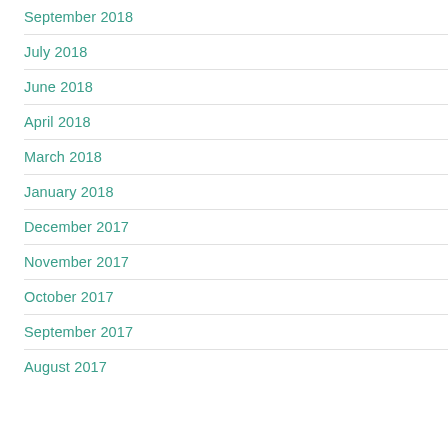September 2018
July 2018
June 2018
April 2018
March 2018
January 2018
December 2017
November 2017
October 2017
September 2017
August 2017